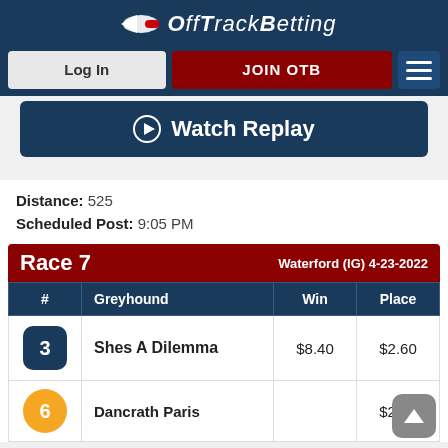OffTrackBetting
Log In | JOIN OTB
Watch Replay
Distance: 525
Scheduled Post: 9:05 PM
| Race 7 | Waterford (IG) 4-23-2022 |  |  |
| --- | --- | --- | --- |
| # | Greyhound | Win | Place |
| 3 | Shes A Dilemma | $8.40 | $2.60 |
| 6 | Dancrath Paris |  | $2.20 |